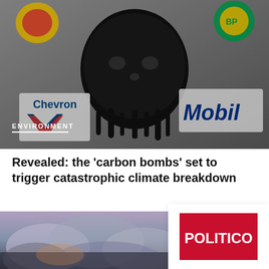[Figure (photo): Composite image showing a dark skull-shaped earth surrounded by oil company logos including Chevron (blue and red chevron logo on left), Mobil (blue and red lettering on right), Shell (yellow logo top left), and BP (green and yellow sunburst logo top right). Black and white dramatic imagery.]
ENVIRONMENT
Revealed: the 'carbon bombs' set to trigger catastrophic climate breakdown
[Figure (photo): Photo of industrial smoke or clouds, dark and atmospheric, partially visible at bottom left of page.]
[Figure (logo): POLITICO logo — white text on red square background.]